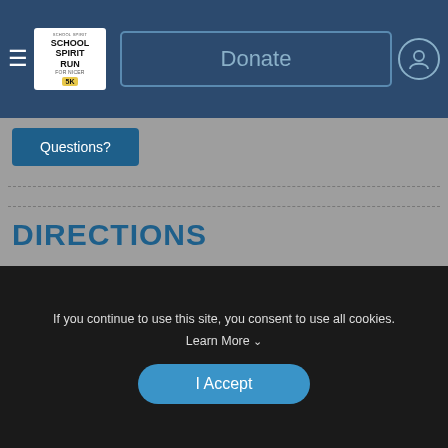School Spirit Run 5K — navigation bar with Donate button and user icon
Questions?
DIRECTIONS
[Figure (map): Blurred map background with a location pin and View Map link overlay]
If you continue to use this site, you consent to use all cookies. Learn More ∨
I Accept